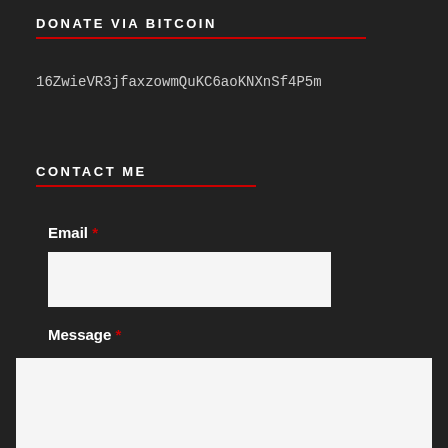DONATE VIA BITCOIN
16ZwieVR3jfaxzowmQuKC6aoKNXnSf4P5m
CONTACT ME
Email *
Message *